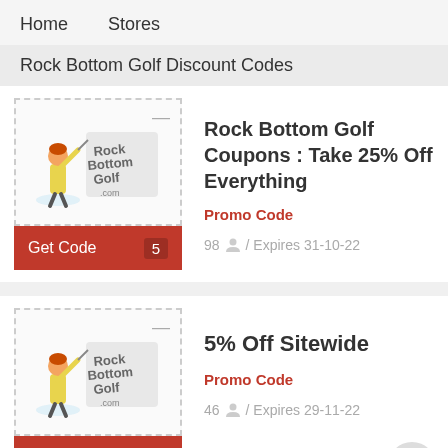Home   Stores
Rock Bottom Golf Discount Codes
Rock Bottom Golf Coupons : Take 25% Off Everything
Promo Code
98 / Expires 31-10-22
Get Code  5
5% Off Sitewide
Promo Code
46 / Expires 29-11-22
Get Code  B